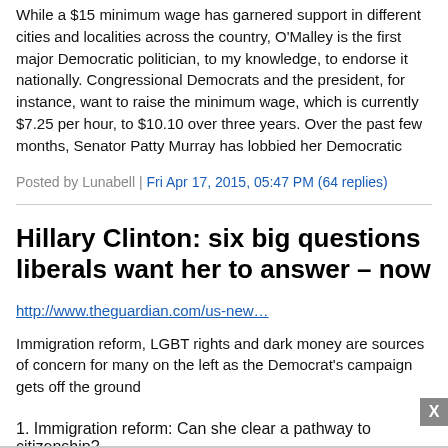While a $15 minimum wage has garnered support in different cities and localities across the country, O'Malley is the first major Democratic politician, to my knowledge, to endorse it nationally. Congressional Democrats and the president, for instance, want to raise the minimum wage, which is currently $7.25 per hour, to $10.10 over three years. Over the past few months, Senator Patty Murray has lobbied her Democratic
Posted by Lunabell | Fri Apr 17, 2015, 05:47 PM (64 replies)
Hillary Clinton: six big questions liberals want her to answer – now
http://www.theguardian.com/us-new…
Immigration reform, LGBT rights and dark money are sources of concern for many on the left as the Democrat's campaign gets off the ground
1. Immigration reform: Can she clear a pathway to citizenship?